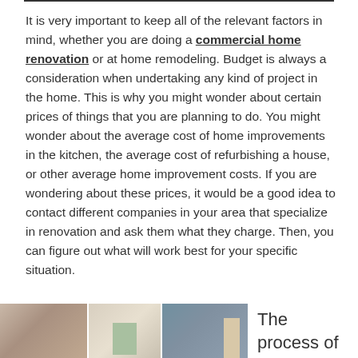It is very important to keep all of the relevant factors in mind, whether you are doing a commercial home renovation or at home remodeling. Budget is always a consideration when undertaking any kind of project in the home. This is why you might wonder about certain prices of things that you are planning to do. You might wonder about the average cost of home improvements in the kitchen, the average cost of refurbishing a house, or other average home improvement costs. If you are wondering about these prices, it would be a good idea to contact different companies in your area that specialize in renovation and ask them what they charge. Then, you can figure out what will work best for your specific situation.
[Figure (photo): Two side-by-side interior home renovation photos showing rooms with furniture and decor]
The process of